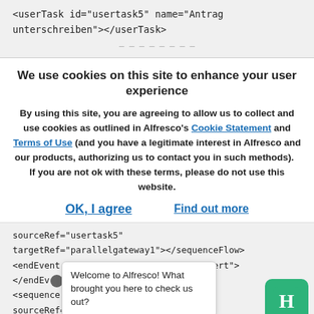<userTask id="usertask5" name="Antrag unterschreiben"></userTask>
We use cookies on this site to enhance your user experience
By using this site, you are agreeing to allow us to collect and use cookies as outlined in Alfresco's Cookie Statement and Terms of Use (and you have a legitimate interest in Alfresco and our products, authorizing us to contact you in such methods).   If you are not ok with these terms, please do not use this website.
OK, I agree
Find out more
sourceRef="usertask5"
targetRef="parallelgateway1"></sequenceFlow>
<endEvent id="endevent3" name="Informiert">
</endEv...
<sequence...
sourceRef=...
Welcome to Alfresco! What brought you here to check us out?